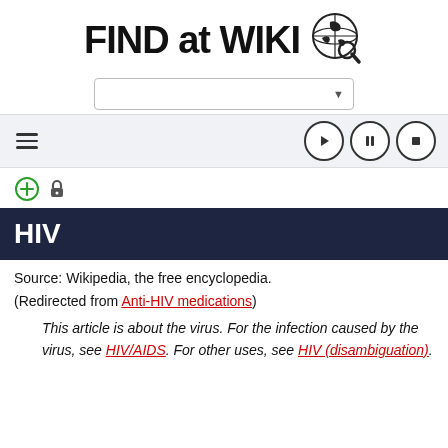[Figure (logo): FIND at WIKI logo with globe and magnifying glass icon]
[Figure (screenshot): Search dropdown select bar with dropdown arrow]
[Figure (screenshot): Toolbar row with hamburger menu icon on left and play/pause/stop circular control buttons on right]
[Figure (screenshot): Icon row with green circled plus sign and lock/padlock icon]
HIV
Source: Wikipedia, the free encyclopedia.
(Redirected from Anti-HIV medications)
This article is about the virus. For the infection caused by the virus, see HIV/AIDS. For other uses, see HIV (disambiguation).